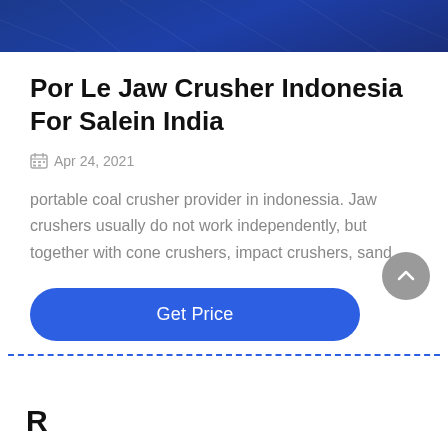Por Le Jaw Crusher Indonesia For Salein India
Apr 24, 2021
portable coal crusher provider in indonessia. Jaw crushers usually do not work independently, but together with cone crushers, impact crushers, sand…
Get Price
R